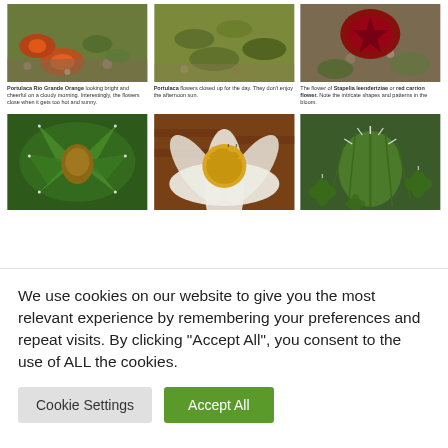[Figure (photo): Portulaca Rio Grande Orange flowers, bright orange blooms on green foliage with rocks]
[Figure (photo): Portulaca flowers closed up for the day, green ground cover]
[Figure (photo): Flower of Stapelia leendertziae or red carrion flower with intricate shapes and patterns]
Portulaca Rio Grande Orange looking bright and cheerful on a cloudy morning. Interestingly, the flowers close when it gets too hot and sunny.
Portulaca flowers closed up for the day. They don't enjoy the afternoon sun.
The flower of Stapelia leendertziae or red carrion flower. Note the intricate shapes and patterns in the bloom.
[Figure (photo): Succulent plant with dark rosette and large central seed pod, top-down view]
[Figure (photo): Echinacea or coneflower with yellow-orange spiky center and white petals, bee visible]
[Figure (photo): Round cactus with white spines surrounded by smaller star-shaped cacti]
We use cookies on our website to give you the most relevant experience by remembering your preferences and repeat visits. By clicking “Accept All”, you consent to the use of ALL the cookies.